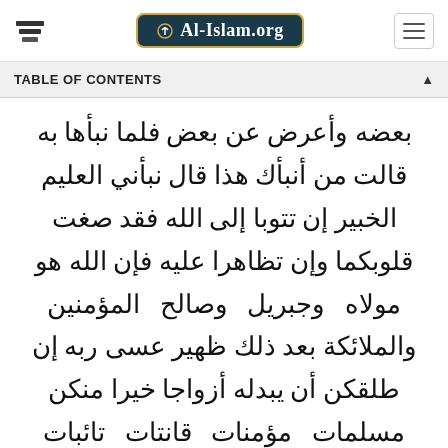Al-Islam.org
TABLE OF CONTENTS
بعضه وأعرض عن بعض فلما نبأها به قالت من أنبأك هذا قال نبأني العليم الخبير إن تتوبا إلى الله فقد صغت قلوبكما وإن تظاهرا عليه فإن الله هو مولاه وجبريل وصالح المؤمنين والملائكة بعد ذلك ظهير عسى ربه إن طلقكن أن يبدله أزواجا خيرا منكن مسلمات مؤمنات قانتات تائبات عابدات سائحات ثيبات وأبكارا